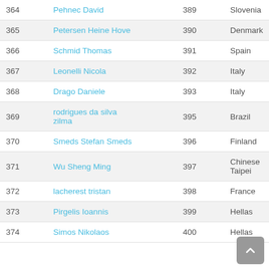| # | Name | BIB | Country |
| --- | --- | --- | --- |
| 364 | Pehnec David | 389 | Slovenia |
| 365 | Petersen Heine Hove | 390 | Denmark |
| 366 | Schmid Thomas | 391 | Spain |
| 367 | Leonelli Nicola | 392 | Italy |
| 368 | Drago Daniele | 393 | Italy |
| 369 | rodrigues da silva zilma | 395 | Brazil |
| 370 | Smeds Stefan Smeds | 396 | Finland |
| 371 | Wu Sheng Ming | 397 | Chinese Taipei |
| 372 | lacherest tristan | 398 | France |
| 373 | Pirgelis Ioannis | 399 | Hellas |
| 374 | Simos Nikolaos | 400 | Hellas |